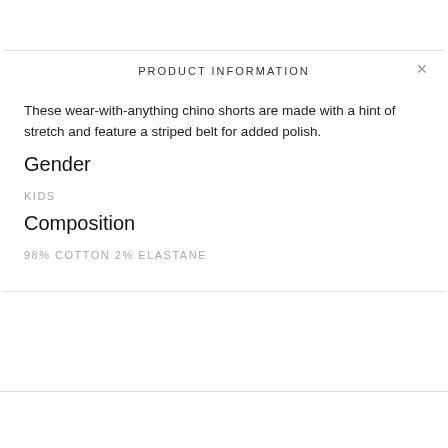PRODUCT INFORMATION
These wear-with-anything chino shorts are made with a hint of stretch and feature a striped belt for added polish.
Gender
KIDS
Composition
98% COTTON 2% ELASTANE